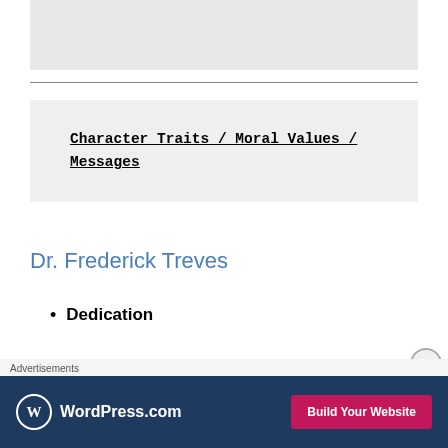[Figure (other): Gray placeholder image box at top of page]
Character Traits / Moral Values / Messages
Dr. Frederick Treves
Dedication
Dr Treves is a dedicated doctor because he insisted to bring Mr. Joseph
Advertisements | WordPress.com | Build Your Website